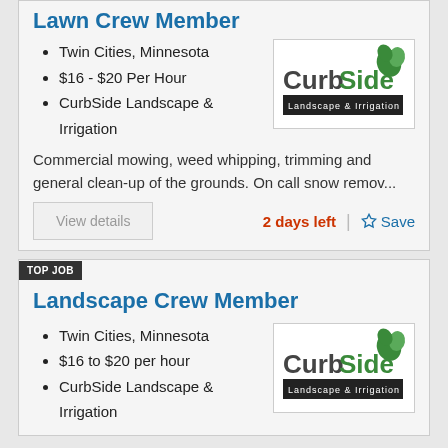Lawn Crew Member
Twin Cities, Minnesota
$16 - $20 Per Hour
CurbSide Landscape & Irrigation
[Figure (logo): CurbSide Landscape & Irrigation logo — green stylized text with plant graphic and black banner]
Commercial mowing, weed whipping, trimming and general clean-up of the grounds. On call snow remov...
View details
2 days left
Save
TOP JOB
Landscape Crew Member
Twin Cities, Minnesota
$16 to $20 per hour
CurbSide Landscape & Irrigation
[Figure (logo): CurbSide Landscape & Irrigation logo — green stylized text with plant graphic and black banner]